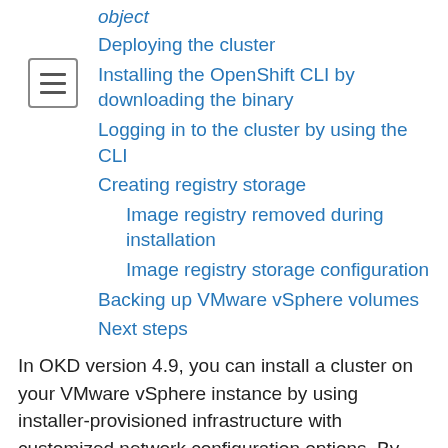object
Deploying the cluster
Installing the OpenShift CLI by downloading the binary
Logging in to the cluster by using the CLI
Creating registry storage
Image registry removed during installation
Image registry storage configuration
Backing up VMware vSphere volumes
Next steps
In OKD version 4.9, you can install a cluster on your VMware vSphere instance by using installer-provisioned infrastructure with customized network configuration options. By customizing your network configuration, your cluster can coexist with existing IP address allocations in your environment and integrate with existing MTU and VXLAN configurations. To customize the installation, you modify parameters in